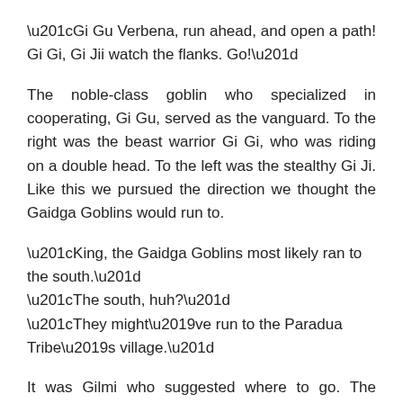“Gi Gu Verbena, run ahead, and open a path! Gi Gi, Gi Jii watch the flanks. Go!”
The noble-class goblin who specialized in cooperating, Gi Gu, served as the vanguard. To the right was the beast warrior Gi Gi, who was riding on a double head. To the left was the stealthy Gi Ji. Like this we pursued the direction we thought the Gaidga Goblins would run to.
“King, the Gaidga Goblins most likely ran to the south.”
“The south, huh?”
“They might’ve run to the Paradua Tribe’s village.”
It was Gilmi who suggested where to go. The village of Paradua was probably already reflected on the eyes of that small archer. That gaze of his looking straight ahead was firm and resolute.